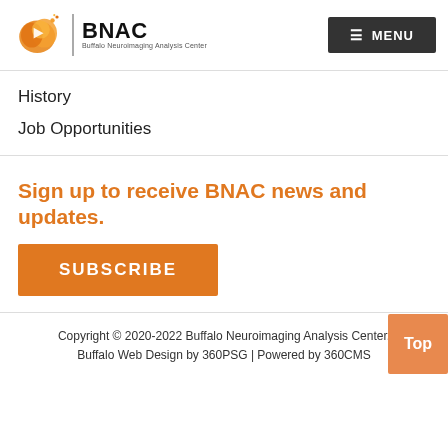[Figure (logo): BNAC Buffalo Neuroimaging Analysis Center logo with orange brain icon and play button]
History
Job Opportunities
Sign up to receive BNAC news and updates.
SUBSCRIBE
Copyright © 2020-2022 Buffalo Neuroimaging Analysis Center. Buffalo Web Design by 360PSG | Powered by 360CMS